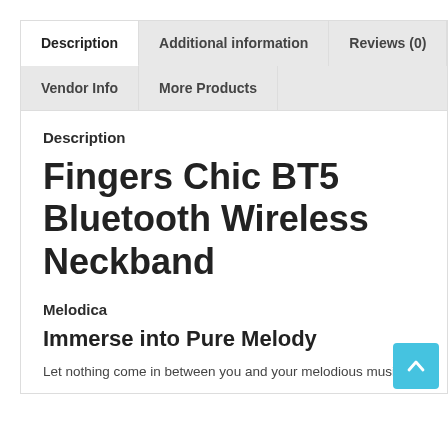Description
Additional information
Reviews (0)
Vendor Info
More Products
Description
Fingers Chic BT5 Bluetooth Wireless Neckband
Melodica
Immerse into Pure Melody
Let nothing come in between you and your melodious music,